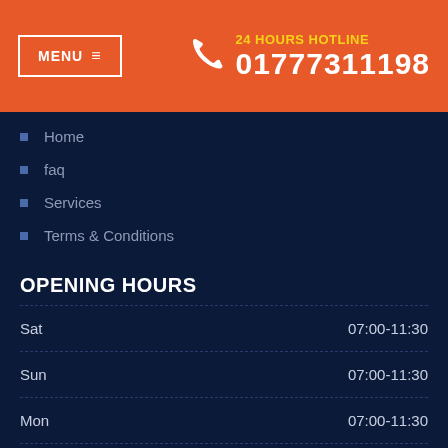MENU  |  24 HOURS HOTLINE  01777311198
Home
faq
Services
Terms & Conditions
OPENING HOURS
| Day | Hours |
| --- | --- |
| Sat | 07:00-11:30 |
| Sun | 07:00-11:30 |
| Mon | 07:00-11:30 |
| Tue | 07:00-11:30 |